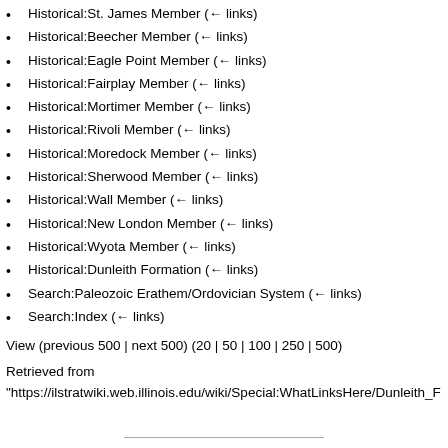Historical:St. James Member  (← links)
Historical:Beecher Member  (← links)
Historical:Eagle Point Member  (← links)
Historical:Fairplay Member  (← links)
Historical:Mortimer Member  (← links)
Historical:Rivoli Member  (← links)
Historical:Moredock Member  (← links)
Historical:Sherwood Member  (← links)
Historical:Wall Member  (← links)
Historical:New London Member  (← links)
Historical:Wyota Member  (← links)
Historical:Dunleith Formation  (← links)
Search:Paleozoic Erathem/Ordovician System  (← links)
Search:Index  (← links)
View (previous 500 | next 500) (20 | 50 | 100 | 250 | 500)
Retrieved from
"https://ilstratwiki.web.illinois.edu/wiki/Special:WhatLinksHere/Dunleith_F